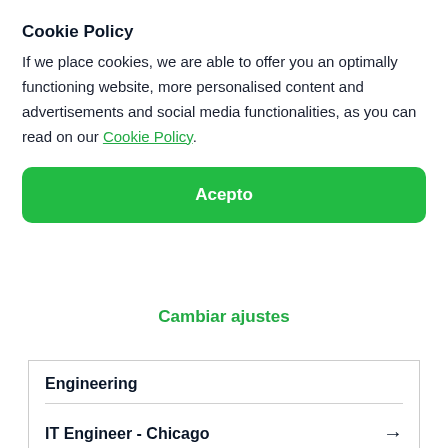Cookie Policy
If we place cookies, we are able to offer you an optimally functioning website, more personalised content and advertisements and social media functionalities, as you can read on our Cookie Policy.
Acepto
Cambiar ajustes
Engineering
IT Engineer - Chicago →